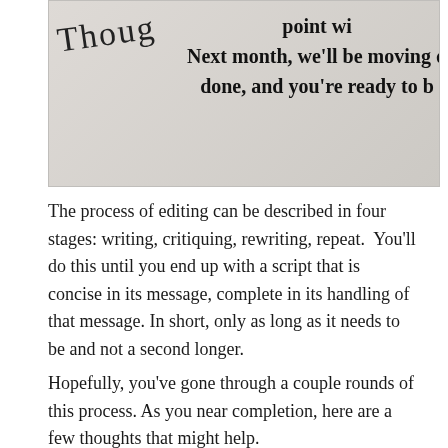[Figure (photo): Close-up photo of printed text on paper, partially showing cursive handwriting on the left ('Thoug...') and printed bold text on the right reading 'point w...', 'Next month, we’ll be moving d...', 'done, and you’re ready to b...']
The process of editing can be described in four stages: writing, critiquing, rewriting, repeat.  You’ll do this until you end up with a script that is concise in its message, complete in its handling of that message. In short, only as long as it needs to be and not a second longer.
Hopefully, you’ve gone through a couple rounds of this process. As you near completion, here are a few thoughts that might help.
Read your script out loud.
During the last couple stages of editing, it’s best to read your script out loud to yourself. Or better yet, if you have a little audio recorder, you can record